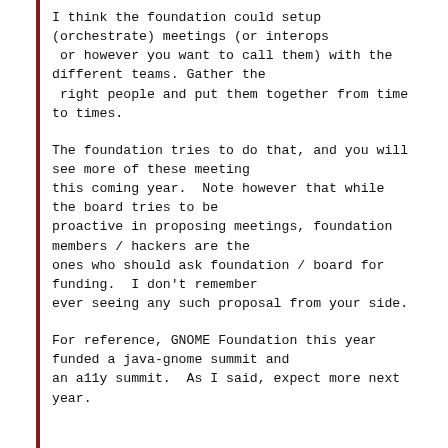I think the foundation could setup (orchestrate) meetings (or interops or however you want to call them) with the different teams. Gather the right people and put them together from time to times.
The foundation tries to do that, and you will see more of these meeting this coming year.  Note however that while the board tries to be proactive in proposing meetings, foundation members / hackers are the ones who should ask foundation / board for funding.  I don't remember ever seeing any such proposal from your side.
For reference, GNOME Foundation this year funded a java-gnome summit and an a11y summit.  As I said, expect more next year.